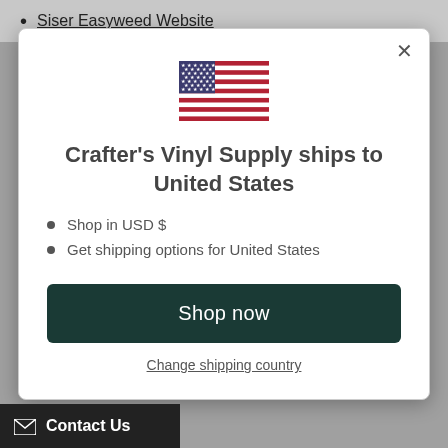Siser Easyweed Website
[Figure (illustration): US flag emoji/icon displayed in the modal dialog]
Crafter's Vinyl Supply ships to United States
Shop in USD $
Get shipping options for United States
Shop now
Change shipping country
Contact Us